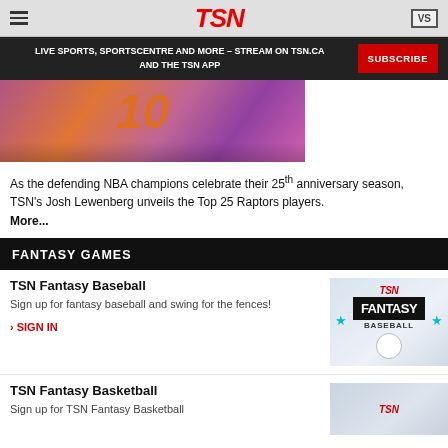TSN
LIVE SPORTS, SPORTSCENTRE AND MORE – STREAM ON TSN.CA AND THE TSN APP
[Figure (photo): Basketball players in action, colorful background, player wearing number 10 jersey]
As the defending NBA champions celebrate their 25th anniversary season, TSN's Josh Lewenberg unveils the Top 25 Raptors players. More...
FANTASY GAMES
TSN Fantasy Baseball
Sign up for fantasy baseball and swing for the fences!
› SIGN IN
[Figure (logo): TSN Fantasy Baseball logo with teal stars and a baseball]
TSN Fantasy Basketball
Sign up for TSN Fantasy Basketball
[Figure (logo): TSN Fantasy Basketball logo partial view]